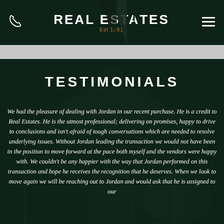REAL ESTATES Est 1981
TESTIMONIALS
We had the pleasure of dealing with Jordan in our recent purchase. He is a credit to Real Estates. He is the utmost professional; delivering on promises, happy to drive to conclusions and isn't afraid of tough conversations which are needed to resolve underlying issues. Without Jordan leading the transaction we would not have been in the position to move forward at the pace both myself and the vendors were happy with. We couldn't be any happier with the way that Jordan performed on this transaction and hope he receives the recognition that he deserves. When we look to move again we will be reaching out to Jordan and would ask that he is assigned to our